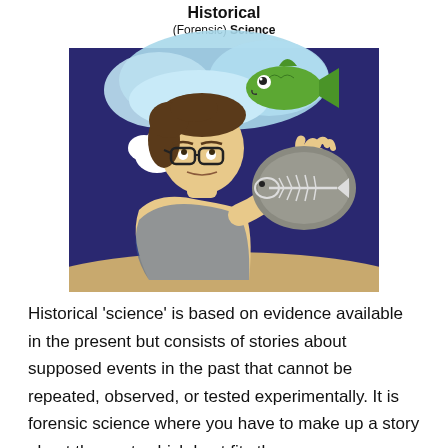[Figure (illustration): Cartoon illustration labeled 'Historical (Forensic) Science' showing a person with glasses examining a fish fossil in a rock, while a thought bubble above shows a living green fish. The background is dark blue/purple with a sandy bottom. The title text at the top reads 'Historical (Forensic) Science' in bold black letters.]
Historical 'science' is based on evidence available in the present but consists of stories about supposed events in the past that cannot be repeated, observed, or tested experimentally. It is forensic science where you have to make up a story about the past, which best fits the